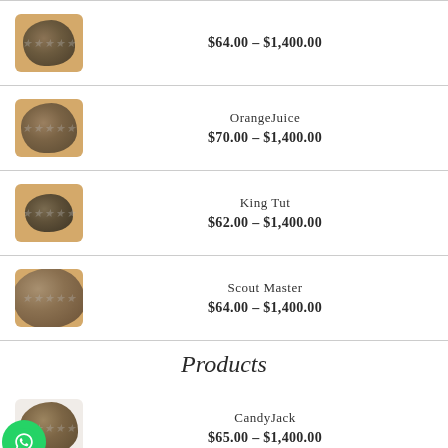[Figure (photo): Cannabis bud product photo with price $64.00 - $1,400.00]
[Figure (photo): Cannabis bud - OrangeJuice, price $70.00 - $1,400.00]
[Figure (photo): Cannabis bud - King Tut, price $62.00 - $1,400.00]
[Figure (photo): Cannabis bud - Scout Master, price $64.00 - $1,400.00]
Products
[Figure (photo): Cannabis bud - Candy Jack, price $65.00 - $1,400.00]
Silver Haze